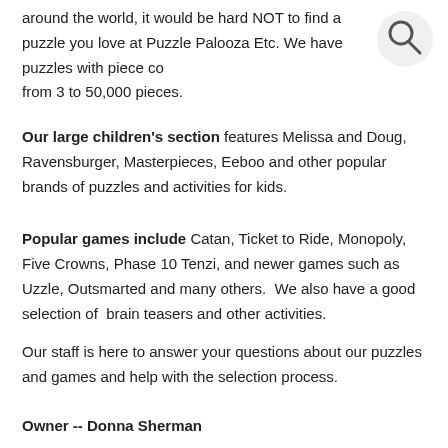around the world, it would be hard NOT to find a puzzle you love at Puzzle Palooza Etc. We have puzzles with piece co from 3 to 50,000 pieces.
[Figure (illustration): Search icon — a circle with a magnifying glass handle, light gray background circle]
Our large children's section features Melissa and Doug, Ravensburger, Masterpieces, Eeboo and other popular brands of puzzles and activities for kids.
Popular games include Catan, Ticket to Ride, Monopoly, Five Crowns, Phase 10 Tenzi, and newer games such as Uzzle, Outsmarted and many others.  We also have a good selection of  brain teasers and other activities.
Our staff is here to answer your questions about our puzzles and games and help with the selection process.
Owner -- Donna Sherman